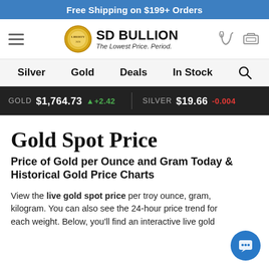Free Shipping on $199+ Orders
[Figure (logo): SD Bullion logo with coin image and tagline 'The Lowest Price. Period.']
Silver   Gold   Deals   In Stock
GOLD $1,764.73 +2.42   SILVER $19.66 -0.004
Gold Spot Price
Price of Gold per Ounce and Gram Today & Historical Gold Price Charts
View the live gold spot price per troy ounce, gram, kilogram. You can also see the 24-hour price trend for each weight. Below, you'll find an interactive live gold